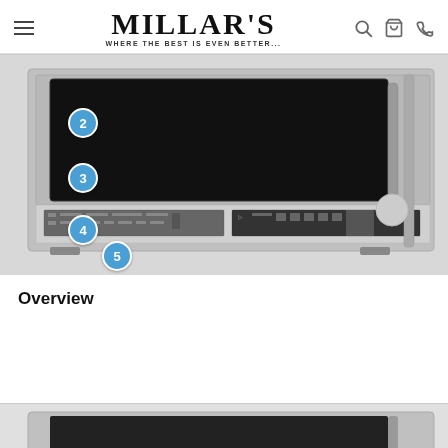MILLAR'S — WHERE THE BEST IS EVEN BETTER...
[Figure (photo): Over-the-range microwave oven in stainless steel, shown from front. Numbered callout circles (2, 3, 4, 5) indicate different product features on the appliance body and control panel.]
Overview
[Figure (photo): Partial view of microwave oven bottom edge, cropped at bottom of page.]